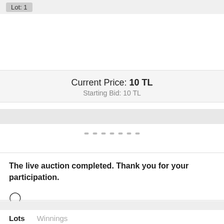Lot: 1
Current Price: 10 TL
Starting Bid: 10 TL
The live auction completed. Thank you for your participation.
[Figure (other): Clock icon symbol]
Lots   Winnings